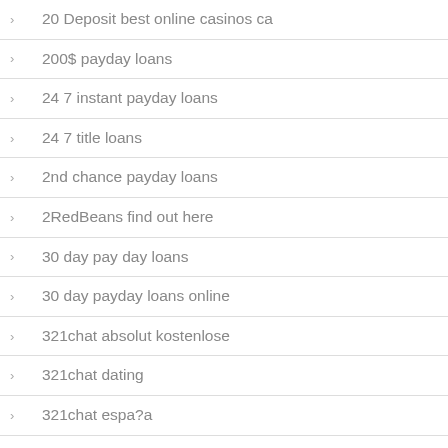20 Deposit best online casinos ca
200$ payday loans
24 7 instant payday loans
24 7 title loans
2nd chance payday loans
2RedBeans find out here
30 day pay day loans
30 day payday loans online
321chat absolut kostenlose
321chat dating
321chat espa?a
321Chat visitors